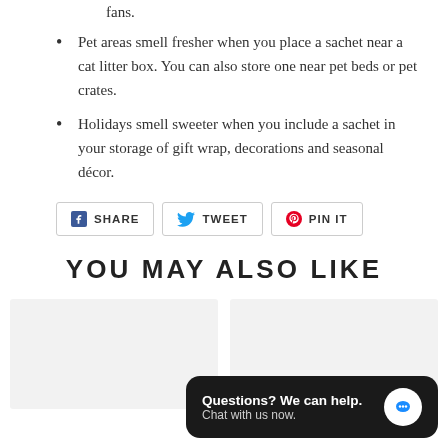fans.
Pet areas smell fresher when you place a sachet near a cat litter box. You can also store one near pet beds or pet crates.
Holidays smell sweeter when you include a sachet in your storage of gift wrap, decorations and seasonal décor.
SHARE  TWEET  PIN IT
YOU MAY ALSO LIKE
[Figure (other): Two product image cards shown in a horizontal row, both with light gray background]
Questions? We can help. Chat with us now.